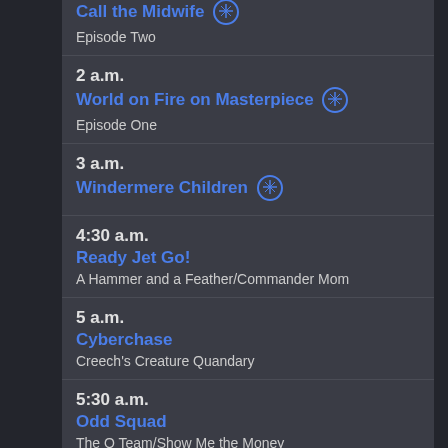Call the Midwife
Episode Two
2 a.m.
World on Fire on Masterpiece
Episode One
3 a.m.
Windermere Children
4:30 a.m.
Ready Jet Go!
A Hammer and a Feather/Commander Mom
5 a.m.
Cyberchase
Creech's Creature Quandary
5:30 a.m.
Odd Squad
The O Team/Show Me the Money